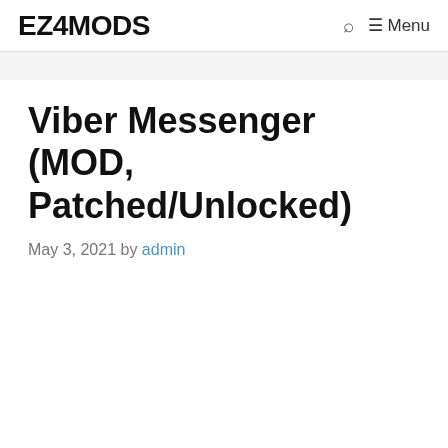EZ4MODS
Viber Messenger (MOD, Patched/Unlocked)
May 3, 2021 by admin